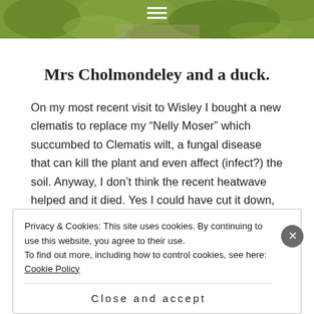[Figure (photo): Partial view of a garden/nature photo strip at the top of the page with green foliage, and a hamburger menu icon overlay]
Mrs Cholmondeley and a duck.
On my most recent visit to Wisley I bought a new clematis to replace my “Nelly Moser” which succumbed to Clematis wilt, a fungal disease that can kill the plant and even affect (infect?) the soil. Anyway, I don’t think the recent heatwave helped and it died. Yes I could have cut it down, left…
READ MORE
Privacy & Cookies: This site uses cookies. By continuing to use this website, you agree to their use. To find out more, including how to control cookies, see here: Cookie Policy
Close and accept